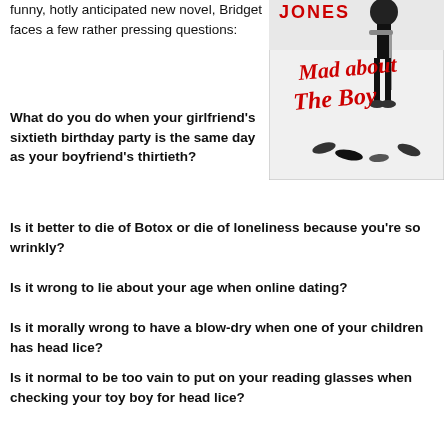funny, hotly anticipated new novel, Bridget faces a few rather pressing questions:
[Figure (illustration): Book cover of 'Bridget Jones: Mad about the Boy' by Helen Fielding, showing a woman's legs in high heels near a bar stool, with red handwritten-style title text]
What do you do when your girlfriend's sixtieth birthday party is the same day as your boyfriend's thirtieth?
Is it better to die of Botox or die of loneliness because you're so wrinkly?
Is it wrong to lie about your age when online dating?
Is it morally wrong to have a blow-dry when one of your children has head lice?
Is it normal to be too vain to put on your reading glasses when checking your toy boy for head lice?
Does the Dalai Lama actually tweet or is it his assistant?
Is it normal to get fewer followers the more you